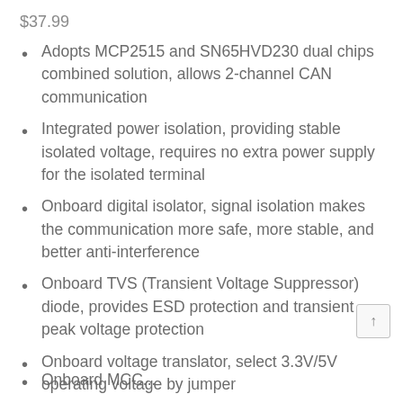$37.99
Adopts MCP2515 and SN65HVD230 dual chips combined solution, allows 2-channel CAN communication
Integrated power isolation, providing stable isolated voltage, requires no extra power supply for the isolated terminal
Onboard digital isolator, signal isolation makes the communication more safe, more stable, and better anti-interference
Onboard TVS (Transient Voltage Suppressor) diode, provides ESD protection and transient peak voltage protection
Onboard voltage translator, select 3.3V/5V operating voltage by jumper
Onboard MCC...